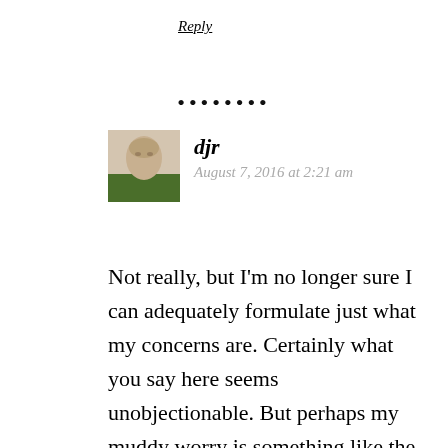Reply
••••••••
djr
August 7, 2016 at 2:21 am
Not really, but I'm no longer sure I can adequately formulate just what my concerns are. Certainly what you say here seems unobjectionable. But perhaps my muddy worry is something like the thought that